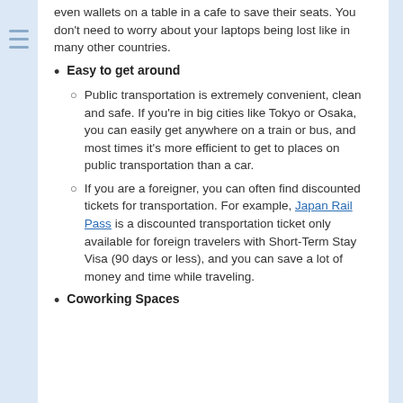even wallets on a table in a cafe to save their seats. You don't need to worry about your laptops being lost like in many other countries.
Easy to get around
Public transportation is extremely convenient, clean and safe. If you're in big cities like Tokyo or Osaka, you can easily get anywhere on a train or bus, and most times it's more efficient to get to places on public transportation than a car.
If you are a foreigner, you can often find discounted tickets for transportation. For example, Japan Rail Pass is a discounted transportation ticket only available for foreign travelers with Short-Term Stay Visa (90 days or less), and you can save a lot of money and time while traveling.
Coworking Spaces